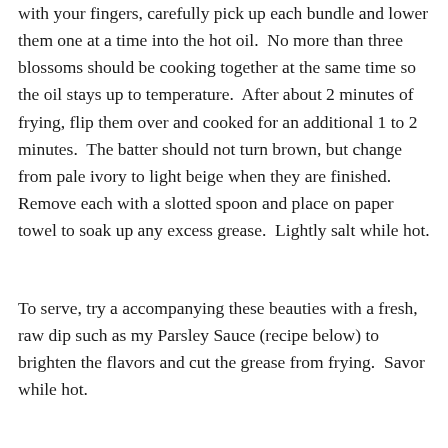with your fingers, carefully pick up each bundle and lower them one at a time into the hot oil.  No more than three blossoms should be cooking together at the same time so the oil stays up to temperature.  After about 2 minutes of frying, flip them over and cooked for an additional 1 to 2 minutes.  The batter should not turn brown, but change from pale ivory to light beige when they are finished.  Remove each with a slotted spoon and place on paper towel to soak up any excess grease.  Lightly salt while hot.
To serve, try a accompanying these beauties with a fresh, raw dip such as my Parsley Sauce (recipe below) to brighten the flavors and cut the grease from frying.  Savor while hot.